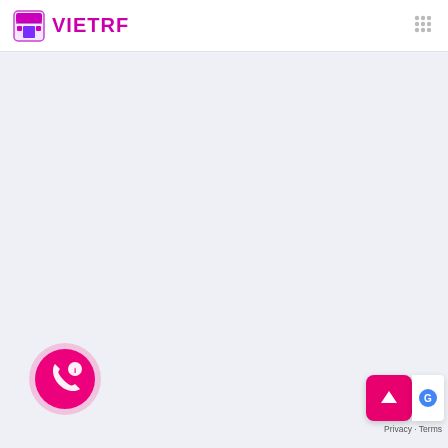VIETRF
[Figure (logo): VIETRF logo with store/shop icon in purple and pink, and grid menu dots icon on the right]
[Figure (illustration): Pink circular phone/contact FAB button with phone and info icon in bottom-left corner]
[Figure (illustration): Pink scroll-to-top button with upward arrow, and Privacy - Terms text below, in bottom-right corner]